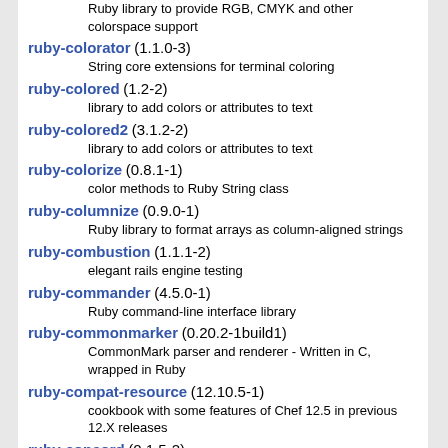Ruby library to provide RGB, CMYK and other colorspace support
ruby-colorator (1.1.0-3) - String core extensions for terminal coloring
ruby-colored (1.2-2) - library to add colors or attributes to text
ruby-colored2 (3.1.2-2) - library to add colors or attributes to text
ruby-colorize (0.8.1-1) - color methods to Ruby String class
ruby-columnize (0.9.0-1) - Ruby library to format arrays as column-aligned strings
ruby-combustion (1.1.1-2) - elegant rails engine testing
ruby-commander (4.5.0-1) - Ruby command-line interface library
ruby-commonmarker (0.20.2-1build1) - CommonMark parser and renderer - Written in C, wrapped in Ruby
ruby-compat-resource (12.10.5-1) - cookbook with some features of Chef 12.5 in previous 12.X releases
ruby-concord (0.1.5-2) - Helper for object composition
ruby-concurrent (1.1.6+dfsg-3) - modern concurrency tools for Ruby
ruby-concurrent-ext (1.1.6+dfsg-3)